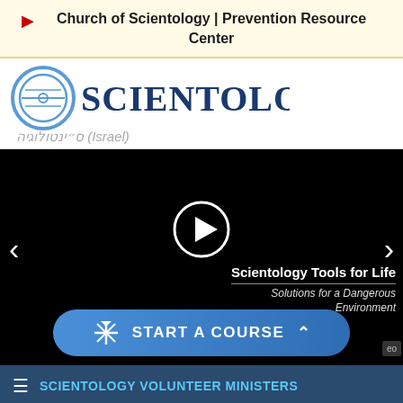▶ Church of Scientology | Prevention Resource Center
[Figure (logo): Scientology logo with circular icon and blue wordmark, with Hebrew text and '(Israel)' subtitle below]
[Figure (screenshot): Black video player area with play button, left and right navigation arrows, text 'Scientology Tools for Life / Solutions for a Dangerous Environment', and a blue 'START A COURSE' button with upward chevron]
≡ SCIENTOLOGY VOLUNTEER MINISTERS